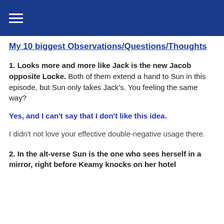☰ (navigation menu icon)
My 10 biggest Observations/Questions/Thoughts
1. Looks more and more like Jack is the new Jacob opposite Locke. Both of them extend a hand to Sun in this episode, but Sun only takes Jack's. You feeling the same way?
Yes, and I can't say that I don't like this idea.
I didn't not love your effective double-negative usage there.
2. In the alt-verse Sun is the one who sees herself in a mirror, right before Keamy knocks on her hotel